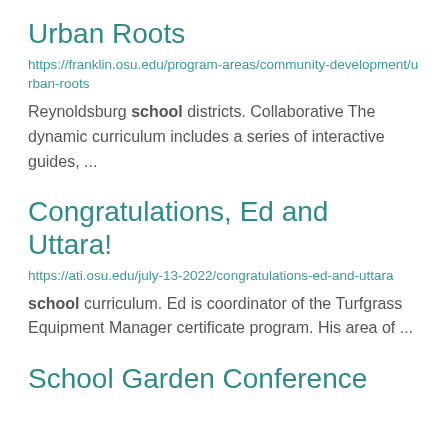Urban Roots
https://franklin.osu.edu/program-areas/community-development/urban-roots
Reynoldsburg school districts. Collaborative The dynamic curriculum includes a series of interactive guides, ...
Congratulations, Ed and Uttara!
https://ati.osu.edu/july-13-2022/congratulations-ed-and-uttara
school curriculum. Ed is coordinator of the Turfgrass Equipment Manager certificate program. His area of ...
School Garden Conference